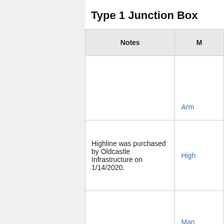Type 1 Junction Box
| Notes | M |
| --- | --- |
|  | Arm |
| Highline was purchased by Oldcastle Infrastructure on 1/14/2020. | High |
|  | Man
Ente |
|  | New |